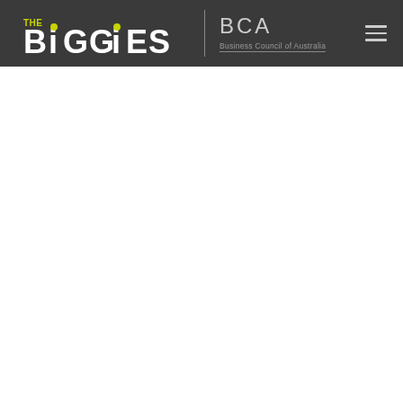THE BIGGIES | BCA Business Council of Australia